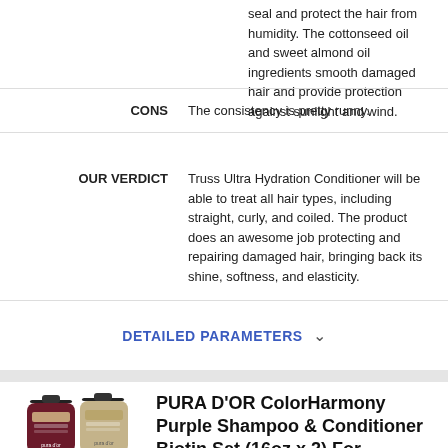seal and protect the hair from humidity. The cottonseed oil and sweet almond oil ingredients smooth damaged hair and provide protection against sunlight and wind.
CONS   The consistency is pretty runny.
OUR VERDICT   Truss Ultra Hydration Conditioner will be able to treat all hair types, including straight, curly, and coiled. The product does an awesome job protecting and repairing damaged hair, bringing back its shine, softness, and elasticity.
DETAILED PARAMETERS
[Figure (photo): Two PURA D'OR hair product bottles (shampoo and conditioner) with pump dispensers, dark maroon/purple color]
PURA D'OR ColorHarmony Purple Shampoo & Conditioner Biotin Set (16oz x 2) For Bleached, Blonde, Silver & Color Treated Hair
Check Price on Amazon